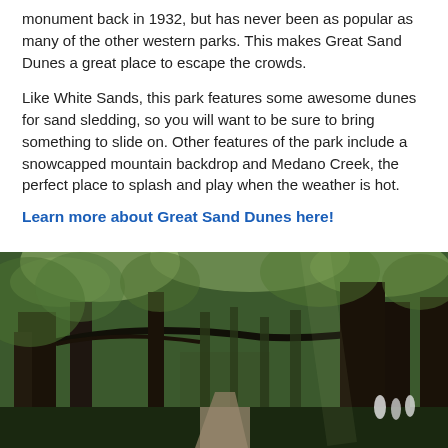monument back in 1932, but has never been as popular as many of the other western parks. This makes Great Sand Dunes a great place to escape the crowds.
Like White Sands, this park features some awesome dunes for sand sledding, so you will want to be sure to bring something to slide on. Other features of the park include a snowcapped mountain backdrop and Medano Creek, the perfect place to splash and play when the weather is hot.
Learn more about Great Sand Dunes here!
[Figure (photo): A forest scene showing tall trees with a boardwalk path and people walking in the background, with green foliage and sunlight filtering through the canopy.]